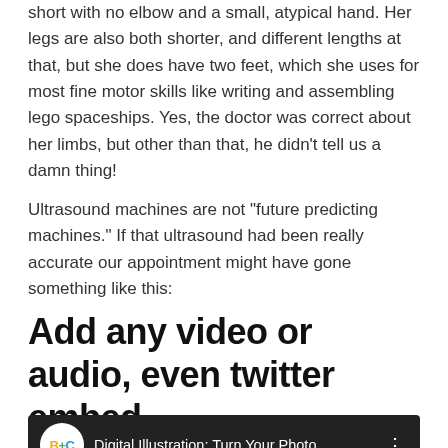short with no elbow and a small, atypical hand. Her legs are also both shorter, and different lengths at that, but she does have two feet, which she uses for most fine motor skills like writing and assembling lego spaceships. Yes, the doctor was correct about her limbs, but other than that, he didn't tell us a damn thing!
Ultrasound machines are not “future predicting machines.” If that ultrasound had been really accurate our appointment might have gone something like this:
Add any video or audio, even twitter embed
[Figure (screenshot): Video embed thumbnail showing B+C logo and title 'Digital Illustration: Turn Your Photo...' with a menu icon on dark background]